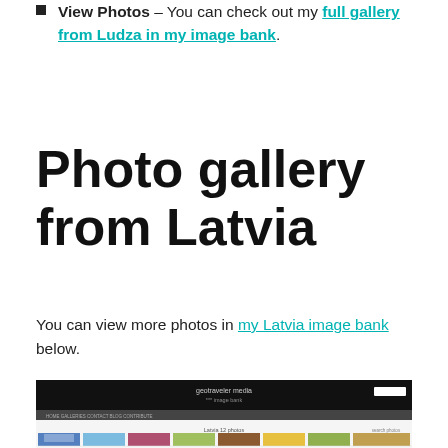View Photos – You can check out my full gallery from Ludza in my image bank.
Photo gallery from Latvia
You can view more photos in my Latvia image bank below.
[Figure (screenshot): Screenshot of geotraveler media image bank website showing Latvia photo gallery thumbnails including churches, landscapes, and portraits]